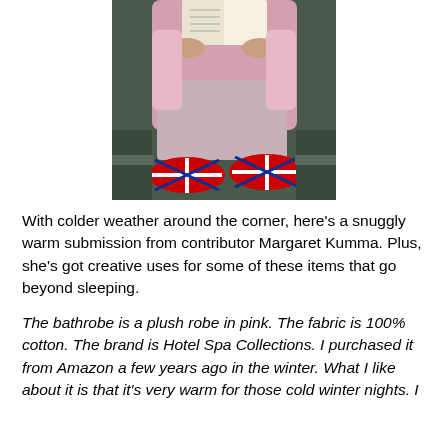[Figure (photo): A person sitting and reading a book, wearing a pink bathrobe over floral pajamas, with Union Jack flag patterned slippers on their feet.]
With colder weather around the corner, here’s a snuggly warm submission from contributor Margaret Kumma. Plus, she’s got creative uses for some of these items that go beyond sleeping.
The bathrobe is a plush robe in pink.  The fabric is 100% cotton.   The brand is Hotel Spa Collections.  I purchased it from Amazon a few years ago in the winter.  What I like about it is that it’s very warm for those cold winter nights.  I